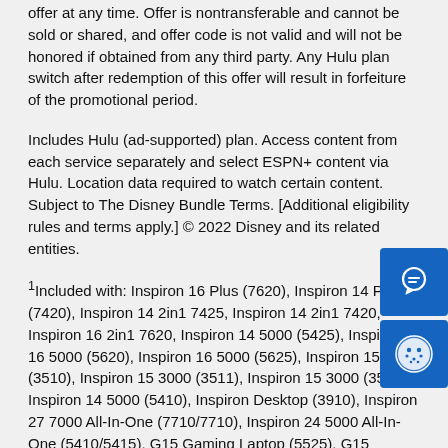offer at any time. Offer is nontransferable and cannot be sold or shared, and offer code is not valid and will not be honored if obtained from any third party. Any Hulu plan switch after redemption of this offer will result in forfeiture of the promotional period.
Includes Hulu (ad-supported) plan. Access content from each service separately and select ESPN+ content via Hulu. Location data required to watch certain content. Subject to The Disney Bundle Terms. [Additional eligibility rules and terms apply.] © 2022 Disney and its related entities.
1Included with: Inspiron 16 Plus (7620), Inspiron 14 Plus (7420), Inspiron 14 2in1 7425, Inspiron 14 2in1 7420, Inspiron 16 2in1 7620, Inspiron 14 5000 (5425), Inspiron 16 5000 (5620), Inspiron 16 5000 (5625), Inspiron 15 3000 (3510), Inspiron 15 3000 (3511), Inspiron 15 3000 (3525), Inspiron 14 5000 (5410), Inspiron Desktop (3910), Inspiron 27 7000 All-In-One (7710/7710), Inspiron 24 5000 All-In-One (5410/5415), G15 Gaming Laptop (5525), G15 Gaming Laptop (5520), G16 Gaming Laptop (7620).
2Included with: XPS 13 (9315), XPS 13 Plus (9320), XPS 15